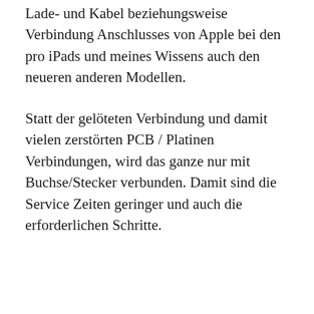Lade- und Kabel beziehungsweise Verbindung Anschlusses von Apple bei den pro iPads und meines Wissens auch den neueren anderen Modellen.
Statt der gelöteten Verbindung und damit vielen zerstörten PCB / Platinen Verbindungen, wird das ganze nur mit Buchse/Stecker verbunden. Damit sind die Service Zeiten geringer und auch die erforderlichen Schritte.